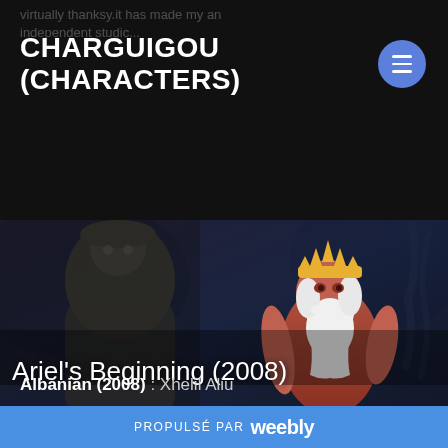virtually thanksy.it has made my an independent studic...
CHARGUIGOU
(CHARACTERS)
[Figure (screenshot): Movie banner image for Ariel's Beginning (2008) showing animated characters including a mermaid figure on the left and King Triton on the right with a golden crown and white beard, on a dark underwater background with the text 'Ariel's Beginning (2008)' overlaid]
Albanian (2008) : Xhelil Aliu
PROPULSÉ PAR weebly